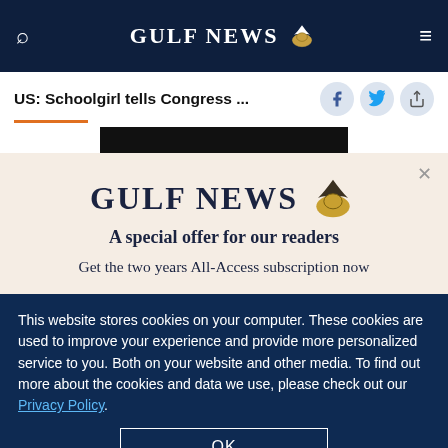GULF NEWS
US: Schoolgirl tells Congress ...
[Figure (logo): Gulf News eagle logo with bold text GULF NEWS and tagline A special offer for our readers]
A special offer for our readers
Get the two years All-Access subscription now
This website stores cookies on your computer. These cookies are used to improve your experience and provide more personalized service to you. Both on your website and other media. To find out more about the cookies and data we use, please check out our Privacy Policy.
OK